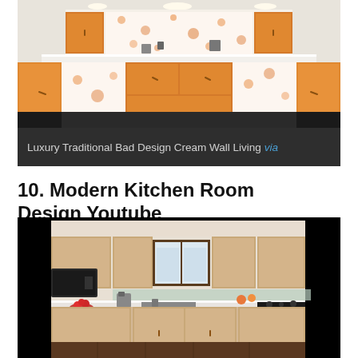[Figure (photo): Interior photo of a modern kitchen with orange cabinet doors, white countertops, and orange floral patterned backsplash panels. U-shaped layout viewed from above angle.]
Luxury Traditional Bad Design Cream Wall Living via
10. Modern Kitchen Room Design Youtube
[Figure (photo): Interior photo of a modern kitchen with light wood cabinets, white countertops, glass tile backsplash, double window above sink, built-in microwave on left wall, and black stovetop on right. U-shaped layout with dark hardwood floor.]